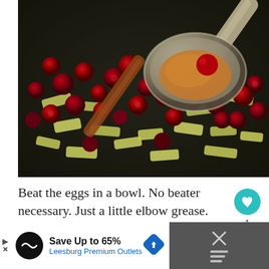[Figure (photo): Close-up photo of cranberries and sliced apples in a dark pan, with a metal spoon holding cinnamon powder and a cranberry above them]
Beat the eggs in a bowl. No beater necessary. Just a little elbow grease. How easy is that?
[Figure (infographic): Teal circular like/heart button, number 1 below it, and a share icon button]
[Figure (infographic): Advertisement banner: Save Up to 65% Leesburg Premium Outlets with logo and navigation arrow icon]